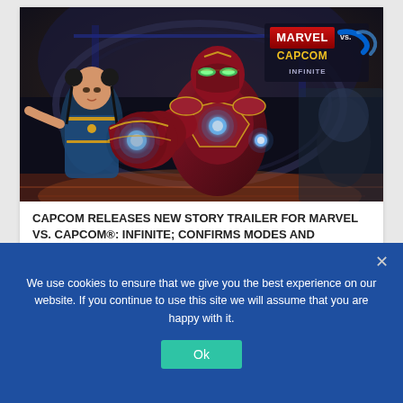[Figure (screenshot): Marvel vs. Capcom: Infinite game screenshot showing Iron Man in red armor in the foreground with glowing repulsor, Chun-Li in background left, with Marvel vs. Capcom Infinite logo in top right corner.]
CAPCOM RELEASES NEW STORY TRAILER FOR MARVEL VS. CAPCOM®: INFINITE; CONFIRMS MODES AND CHARACTERS
August 24, 2017
We use cookies to ensure that we give you the best experience on our website. If you continue to use this site we will assume that you are happy with it.